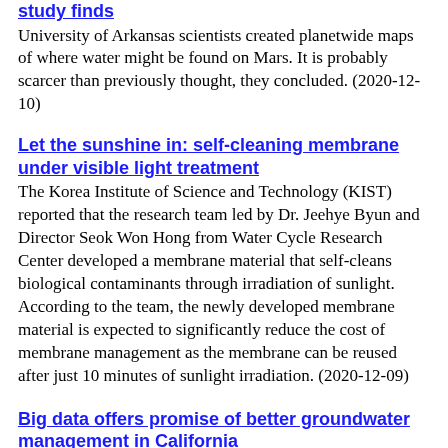study finds
University of Arkansas scientists created planetwide maps of where water might be found on Mars. It is probably scarcer than previously thought, they concluded. (2020-12-10)
Let the sunshine in: self-cleaning membrane under visible light treatment
The Korea Institute of Science and Technology (KIST) reported that the research team led by Dr. Jeehye Byun and Director Seok Won Hong from Water Cycle Research Center developed a membrane material that self-cleans biological contaminants through irradiation of sunlight. According to the team, the newly developed membrane material is expected to significantly reduce the cost of membrane management as the membrane can be reused after just 10 minutes of sunlight irradiation. (2020-12-09)
Big data offers promise of better groundwater management in California